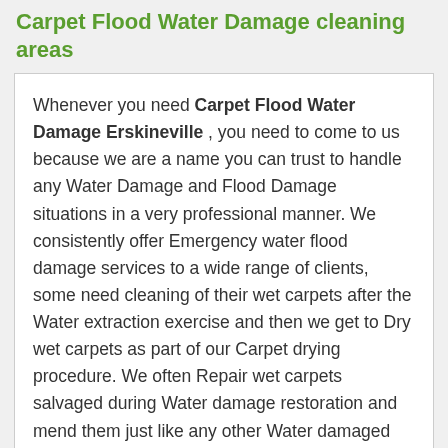Carpet Flood Water Damage cleaning areas
Whenever you need Carpet Flood Water Damage Erskineville , you need to come to us because we are a name you can trust to handle any Water Damage and Flood Damage situations in a very professional manner. We consistently offer Emergency water flood damage services to a wide range of clients, some need cleaning of their wet carpets after the Water extraction exercise and then we get to Dry wet carpets as part of our Carpet drying procedure. We often Repair wet carpets salvaged during Water damage restoration and mend them just like any other Water damaged carpets because Water damage